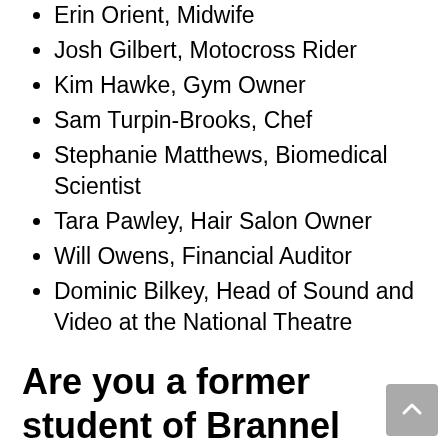Erin Orient, Midwife
Josh Gilbert, Motocross Rider
Kim Hawke, Gym Owner
Sam Turpin-Brooks, Chef
Stephanie Matthews, Biomedical Scientist
Tara Pawley, Hair Salon Owner
Will Owens, Financial Auditor
Dominic Bilkey, Head of Sound and Video at the National Theatre
Are you a former student of Brannel School?
This is a network for life, one that our students and alumni have access to.  We intend to grow a network of contacts who can, in partnership with Brannel School